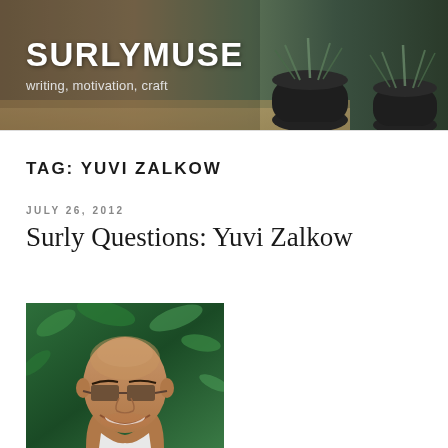SURLYMUSE
writing, motivation, craft
TAG: YUVI ZALKOW
JULY 26, 2012
Surly Questions: Yuvi Zalkow
[Figure (photo): Headshot of Yuvi Zalkow, a smiling man with glasses and a shaved head, wearing a collared shirt, photographed against a green leafy background]